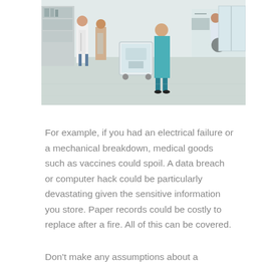[Figure (photo): Healthcare setting showing medical professionals in a clinical environment with equipment carts and workstations]
For example, if you had an electrical failure or a mechanical breakdown, medical goods such as vaccines could spoil. A data breach or computer hack could be particularly devastating given the sensitive information you store. Paper records could be costly to replace after a fire. All of this can be covered.
Don't make any assumptions about a